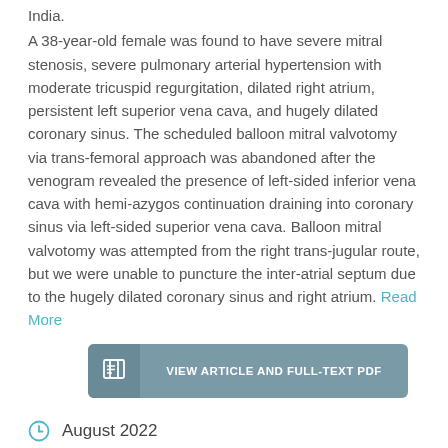India.
A 38-year-old female was found to have severe mitral stenosis, severe pulmonary arterial hypertension with moderate tricuspid regurgitation, dilated right atrium, persistent left superior vena cava, and hugely dilated coronary sinus. The scheduled balloon mitral valvotomy via trans-femoral approach was abandoned after the venogram revealed the presence of left-sided inferior vena cava with hemi-azygos continuation draining into coronary sinus via left-sided superior vena cava. Balloon mitral valvotomy was attempted from the right trans-jugular route, but we were unable to puncture the inter-atrial septum due to the hugely dilated coronary sinus and right atrium. Read More
VIEW ARTICLE AND FULL-TEXT PDF
August 2022
Similar Publications